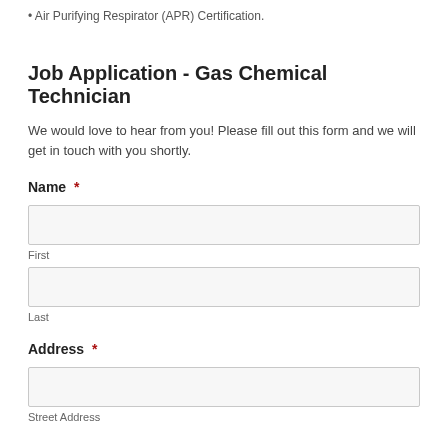Air Purifying Respirator (APR) Certification.
Job Application - Gas Chemical Technician
We would love to hear from you! Please fill out this form and we will get in touch with you shortly.
Name *
First
Last
Address *
Street Address